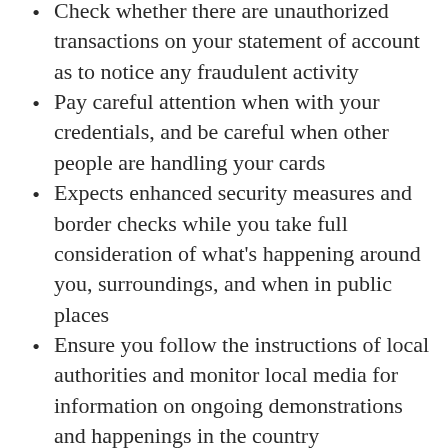Check whether there are unauthorized transactions on your statement of account as to notice any fraudulent activity
Pay careful attention when with your credentials, and be careful when other people are handling your cards
Expects enhanced security measures and border checks while you take full consideration of what's happening around you, surroundings, and when in public places
Ensure you follow the instructions of local authorities and monitor local media for information on ongoing demonstrations and happenings in the country
Obligations to wear a face-covering or